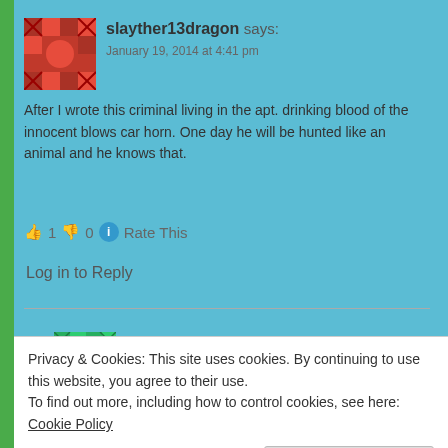slayther13dragon says:
January 19, 2014 at 4:41 pm
After I wrote this criminal living in the apt. drinking blood of the innocent blows car horn. One day he will be hunted like an animal and he knows that.
👍 1 👎 0 ℹ Rate This
Log in to Reply
neverending1 says:
January 21, 2014 at 11:17 am
Privacy & Cookies: This site uses cookies. By continuing to use this website, you agree to their use.
To find out more, including how to control cookies, see here: Cookie Policy
Close and accept